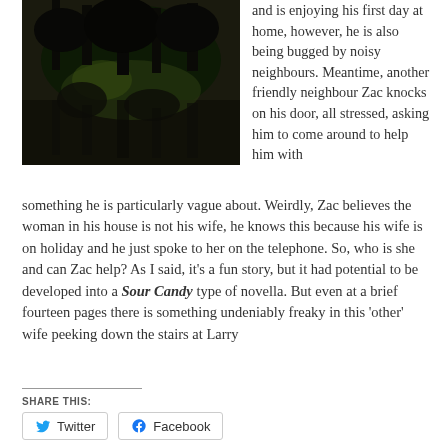[Figure (photo): Dark atmospheric photo showing shadowy tree silhouettes reflected in water with green-tinted light]
and is enjoying his first day at home, however, he is also being bugged by noisy neighbours. Meantime, another friendly neighbour Zac knocks on his door, all stressed, asking him to come around to help him with something he is particularly vague about. Weirdly, Zac believes the woman in his house is not his wife, he knows this because his wife is on holiday and he just spoke to her on the telephone. So, who is she and can Zac help? As I said, it's a fun story, but it had potential to be developed into a Sour Candy type of novella. But even at a brief fourteen pages there is something undeniably freaky in this 'other' wife peeking down the stairs at Larry
SHARE THIS:
Twitter  Facebook